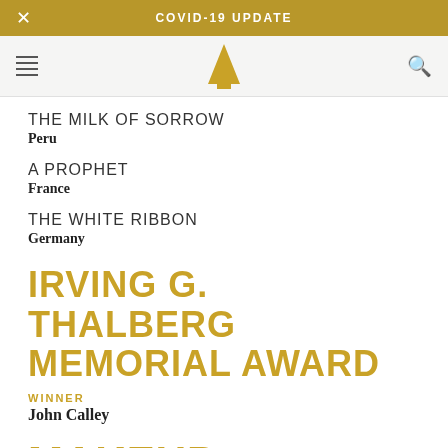COVID-19 UPDATE
[Figure (logo): Academy Awards Oscar statuette logo (gold triangle/figure on white nav bar)]
THE MILK OF SORROW
Peru
A PROPHET
France
THE WHITE RIBBON
Germany
IRVING G. THALBERG MEMORIAL AWARD
WINNER
John Calley
MAKEUP